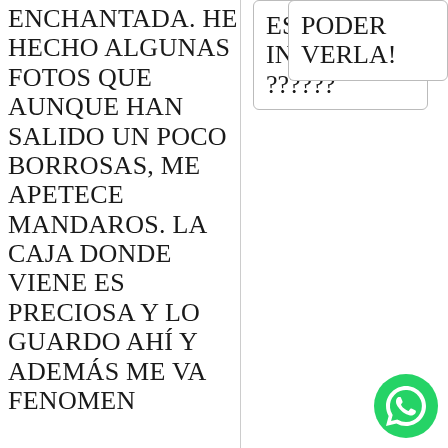ENCHANTADA. HE HECHO ALGUNAS FOTOS QUE AUNQUE HAN SALIDO UN POCO BORROSAS, ME APETECE MANDAROS. LA CAJA DONDE VIENE ES PRECIOSA Y LO GUARDO AHÍ Y ADEMÁS ME VA FENOMEN
ES INCREIBLE ??????
PODER VERLA!
[Figure (logo): WhatsApp green circular button icon]